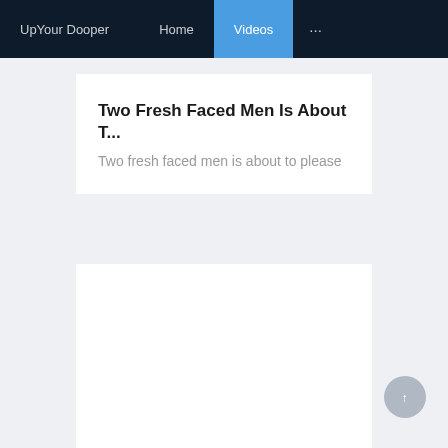UpYour Dooper  Home  Videos  ...
Two Fresh Faced Men Is About T...
Two fresh faced men is about to please
[Figure (photo): Partial thumbnail strip of a video showing people, partially visible at the top of the second card]